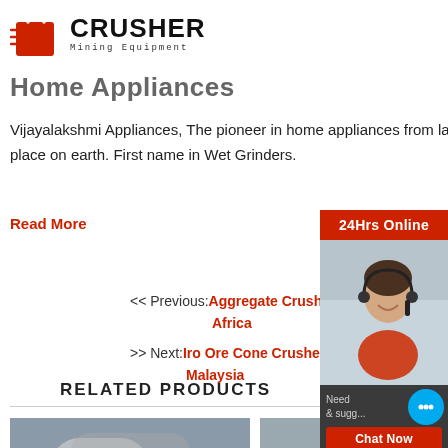[Figure (logo): Crusher Mining Equipment logo with red shopping bag icon and bold CRUSHER text]
Home Appliances
Vijayalakshmi Appliances, The pioneer in home appliances from last 30 years in making kitchen the most enjoyable place on earth. First name in Wet Grinders.
Read More
<< Previous: Aggregate Crusher Africa
>> Next: Iro Ore Cone Crusher Malaysia
RELATED PRODUCTS
[Figure (photo): Industrial crusher machine - left product photo]
[Figure (photo): Industrial crusher machine - right product photo]
[Figure (photo): Sidebar: 24Hrs Online panel with customer service representative photo, Chat Now button, Enquiry link, and limingjlmofen@sina.com email]